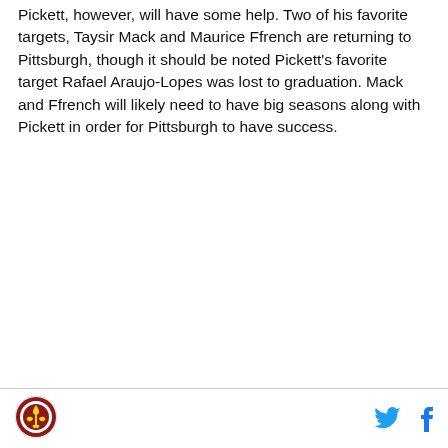Pickett, however, will have some help. Two of his favorite targets, Taysir Mack and Maurice Ffrench are returning to Pittsburgh, though it should be noted Pickett's favorite target Rafael Araujo-Lopes was lost to graduation. Mack and Ffrench will likely need to have big seasons along with Pickett in order for Pittsburgh to have success.
[Figure (logo): Sports website logo - circular emblem with red and gold design]